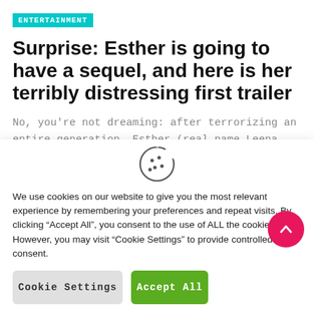ENTERTAINMENT
Surprise: Esther is going to have a sequel, and here is her terribly distressing first trailer
No, you're not dreaming: after terrorizing an entire generation, Esther (real name Leena Klammer) is making a comeback. Released in
We use cookies on our website to give you the most relevant experience by remembering your preferences and repeat visits. By clicking “Accept All”, you consent to the use of ALL the cookies. However, you may visit “Cookie Settings” to provide controlled consent.
Cookie Settings
Accept All